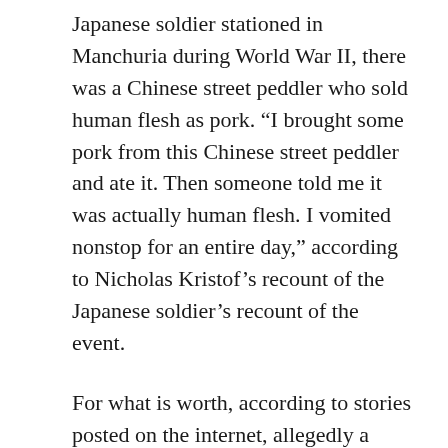Japanese soldier stationed in Manchuria during World War II, there was a Chinese street peddler who sold human flesh as pork. “I brought some pork from this Chinese street peddler and ate it. Then someone told me it was actually human flesh. I vomited nonstop for an entire day,” according to Nicholas Kristof’s recount of the Japanese soldier’s recount of the event.
For what is worth, according to stories posted on the internet, allegedly a dumpling restaurant in Beijing served human flesh in 1982.
The story goes as follows:
A customer has an argument with the restaurant owner. The owner accidentally killed the...